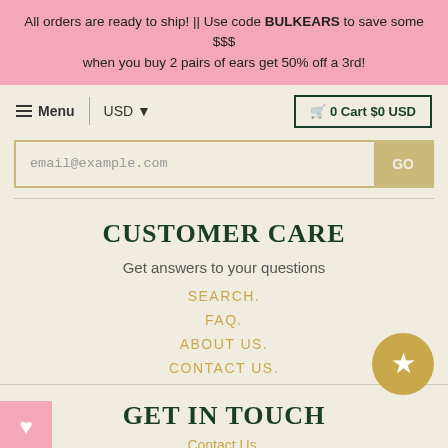All orders are ready to ship! || Use code BULKEARS to save some $$$ when you buy 2 pairs of ears get 50% off a 3rd!
☰ Menu   USD ▼   🛒 0 Cart $0 USD
email@example.com  GO
CUSTOMER CARE
Get answers to your questions
SEARCH.
FAQ.
ABOUT US.
CONTACT US.
GET IN TOUCH
Contact Us.